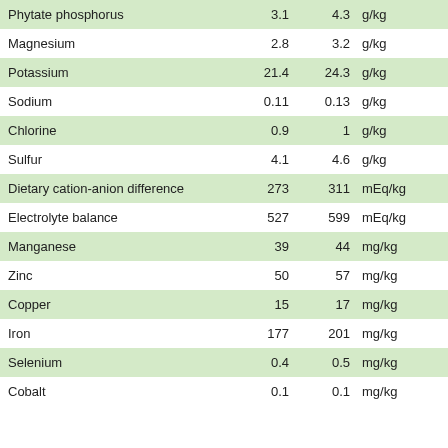|  |  |  | Unit |  |  |
| --- | --- | --- | --- | --- | --- |
| Phytate phosphorus | 3.1 | 4.3 | g/kg | 60 | %P |
| Magnesium | 2.8 | 3.2 | g/kg | - |  |
| Potassium | 21.4 | 24.3 | g/kg | - |  |
| Sodium | 0.11 | 0.13 | g/kg | - |  |
| Chlorine | 0.9 | 1 | g/kg | - |  |
| Sulfur | 4.1 | 4.6 | g/kg | - |  |
| Dietary cation-anion difference | 273 | 311 | mEq/kg | - |  |
| Electrolyte balance | 527 | 599 | mEq/kg | - |  |
| Manganese | 39 | 44 | mg/kg | - |  |
| Zinc | 50 | 57 | mg/kg | - |  |
| Copper | 15 | 17 | mg/kg | - |  |
| Iron | 177 | 201 | mg/kg | - |  |
| Selenium | 0.4 | 0.5 | mg/kg | - |  |
| Cobalt | 0.1 | 0.1 | mg/kg | - |  |